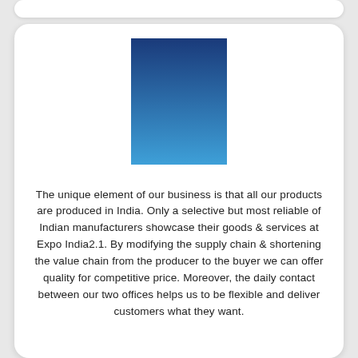[Figure (illustration): A rectangle with a blue gradient, dark blue at top transitioning to lighter blue at the bottom, serving as a logo or decorative image.]
The unique element of our business is that all our products are produced in India. Only a selective but most reliable of Indian manufacturers showcase their goods & services at Expo India2.1. By modifying the supply chain & shortening the value chain from the producer to the buyer we can offer quality for competitive price. Moreover, the daily contact between our two offices helps us to be flexible and deliver customers what they want.